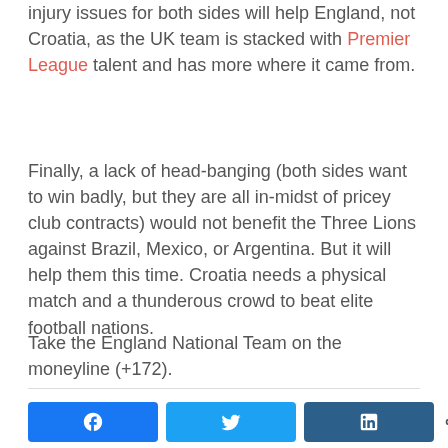injury issues for both sides will help England, not Croatia, as the UK team is stacked with Premier League talent and has more where it came from.
Finally, a lack of head-banging (both sides want to win badly, but they are all in-midst of pricey club contracts) would not benefit the Three Lions against Brazil, Mexico, or Argentina. But it will help them this time. Croatia needs a physical match and a thunderous crowd to beat elite football nations.
Take the England National Team on the moneyline (+172).
[Figure (other): Social share buttons: Facebook, Twitter, LinkedIn, and a share count showing 0 SHARES]